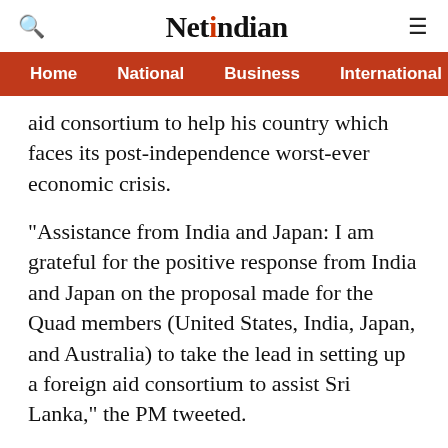NetIndian
Home   National   Business   International   Sp
aid consortium to help his country which faces its post-independence worst-ever economic crisis.
"Assistance from India and Japan: I am grateful for the positive response from India and Japan on the proposal made for the Quad members (United States, India, Japan, and Australia) to take the lead in setting up a foreign aid consortium to assist Sri Lanka," the PM tweeted.
IANS
[Figure (other): Advertisement placeholder box]